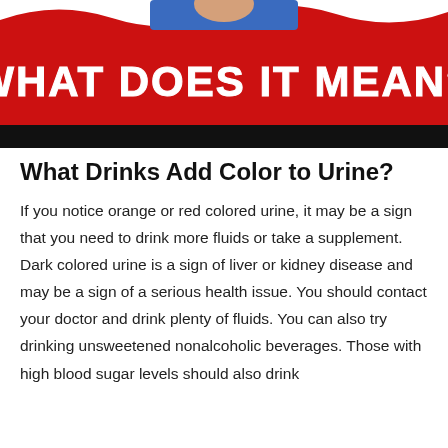[Figure (infographic): A banner image with a red wavy background and bold white distressed text reading 'WHAT DOES IT MEAN?' A person in a blue shirt is partially visible at the top.]
What Drinks Add Color to Urine?
If you notice orange or red colored urine, it may be a sign that you need to drink more fluids or take a supplement. Dark colored urine is a sign of liver or kidney disease and may be a sign of a serious health issue. You should contact your doctor and drink plenty of fluids. You can also try drinking unsweetened nonalcoholic beverages. Those with high blood sugar levels should also drink